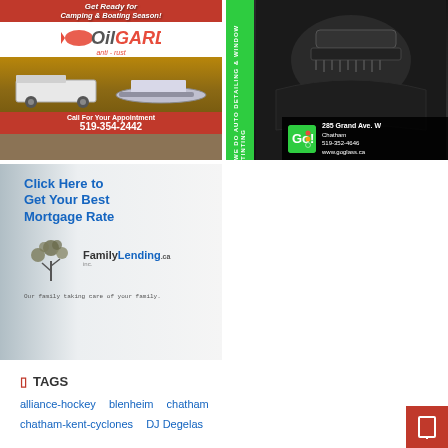[Figure (photo): OilGard anti-rust advertisement for camping and boating season. Red header with italic text 'Get Ready for Camping & Boating Season!', OilGard logo, vehicles image (RV and pontoon boat), red footer with 'Call For Your Appointment' and phone number 519-354-2442.]
[Figure (photo): Go! Glass & Accessories advertisement showing auto detailing with vacuum hose on car interior. Green vertical banner text 'WE DO AUTO DETAILING & WINDOW TINTING'. Address: 285 Grand Ave. W, Chatham, 519-352-4646, www.goglass.ca]
[Figure (photo): FamilyLending.ca advertisement with blue text 'Click Here to Get Your Best Mortgage Rate', FamilyLending.ca logo with tree graphic, tagline 'Our family taking care of your family.']
TAGS
alliance-hockey
blenheim
chatham
chatham-kent-cyclones
DJ Degelas